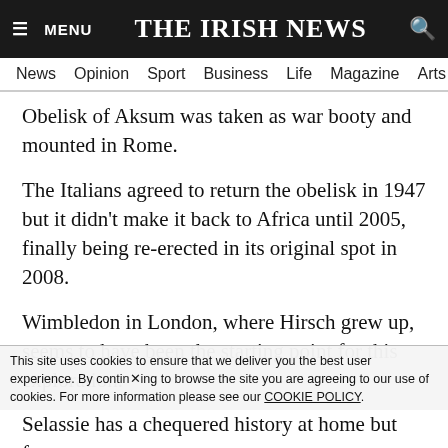≡ MENU   THE IRISH NEWS   🔍
News   Opinion   Sport   Business   Life   Magazine   Arts
Obelisk of Aksum was taken as war booty and mounted in Rome.
The Italians agreed to return the obelisk in 1947 but it didn't make it back to Africa until 2005, finally being re-erected in its original spot in 2008.
Wimbledon in London, where Hirsch grew up, seems to have been the starting point for this exploration.
She used to play in a park near to a statue of Selassie, erected to commemorate his time in London during
This site uses cookies to ensure that we deliver you the best user experience. By continuing to browse the site you are agreeing to our use of cookies. For more information please see our COOKIE POLICY.
Selassie has a chequered history at home but for